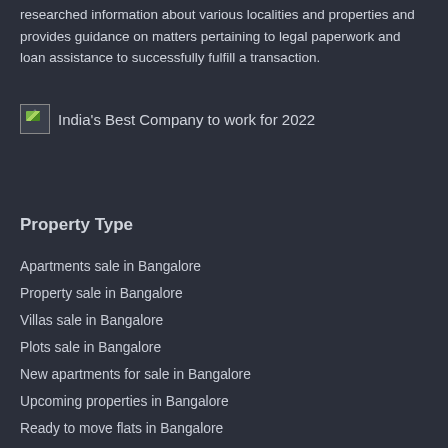researched information about various localities and properties and provides guidance on matters pertaining to legal paperwork and loan assistance to successfully fulfill a transaction.
[Figure (illustration): Broken image placeholder icon followed by text: India's Best Company to work for 2022]
Property Type
Apartments sale in Bangalore
Property sale in Bangalore
Villas sale in Bangalore
Plots sale in Bangalore
New apartments for sale in Bangalore
Upcoming properties in Bangalore
Ready to move flats in Bangalore